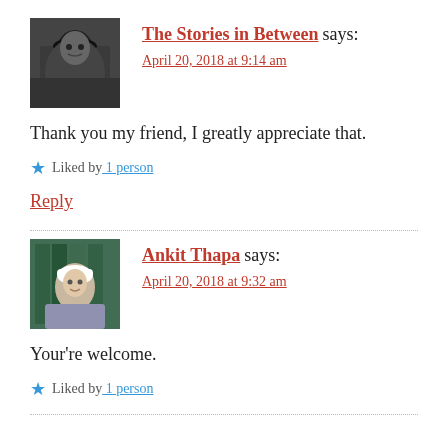[Figure (photo): Avatar photo of a man with long dark hair and beard]
The Stories in Between says:
April 20, 2018 at 9:14 am
Thank you my friend, I greatly appreciate that.
★ Liked by 1 person
Reply
[Figure (photo): Avatar photo of a person wearing a white cap outdoors]
Ankit Thapa says:
April 20, 2018 at 9:32 am
Your're welcome.
★ Liked by 1 person